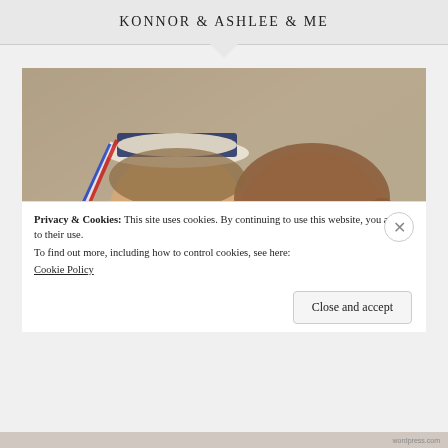KONNOR & ASHLEE & ME
[Figure (photo): Two children posing together and smiling. A young boy on the left wearing a white graduation cap with red, white, and blue ribbons and dark-rimmed glasses. A girl on the right with straight reddish-brown hair and thin-framed glasses. Indoor setting.]
Privacy & Cookies: This site uses cookies. By continuing to use this website, you agree to their use.
To find out more, including how to control cookies, see here:
Cookie Policy
Close and accept